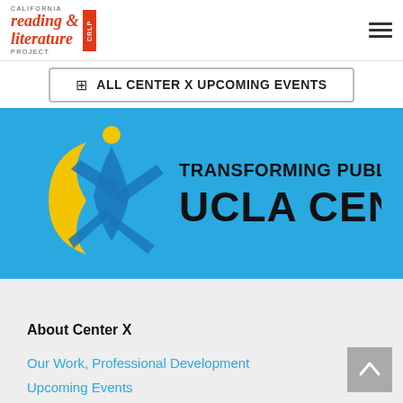California Reading & Literature Project CRLP
ALL CENTER X UPCOMING EVENTS
[Figure (logo): UCLA Center X logo — blue background with stylized X figure and text: TRANSFORMING PUBLIC SCHOOLS / UCLA CENTER X]
About Center X
Our Work, Professional Development
Upcoming Events